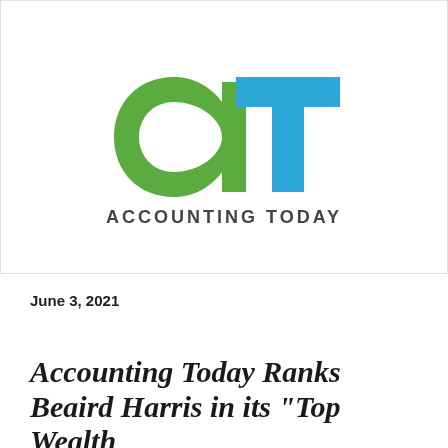[Figure (logo): Accounting Today logo: stylized lowercase 'a' in green and 'T' in blue, with 'ACCOUNTING TODAY' text below in dark gray]
June 3, 2021
Accounting Today Ranks Beaird Harris in its “Top Wealth